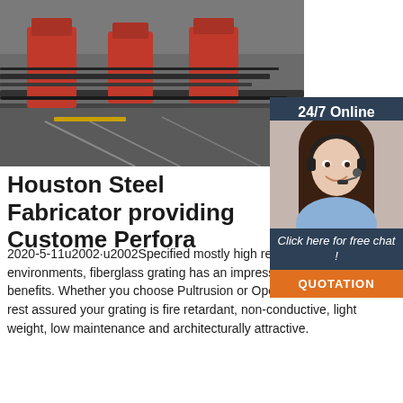[Figure (photo): Industrial steel fabrication machinery with red components on a factory floor]
[Figure (photo): 24/7 Online support agent: smiling woman with headset, with 'Click here for free chat!' text and orange QUOTATION button]
Houston Steel Fabricator providing Custome Perfora
2020-5-11u2002·u2002Specified mostly high resistance to corrosive environments, fiberglass grating has an impressive list of additional benefits. Whether you choose Pultrusion or Open Molding, you can rest assured your grating is fire retardant, non-conductive, light weight, low maintenance and architecturally attractive.